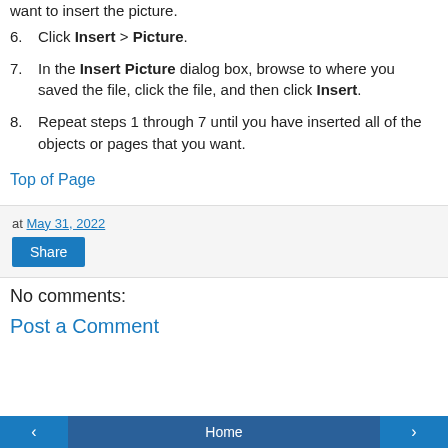want to insert the picture.
6. Click Insert > Picture.
7. In the Insert Picture dialog box, browse to where you saved the file, click the file, and then click Insert.
8. Repeat steps 1 through 7 until you have inserted all of the objects or pages that you want.
Top of Page
at May 31, 2022
Share
No comments:
Post a Comment
Home